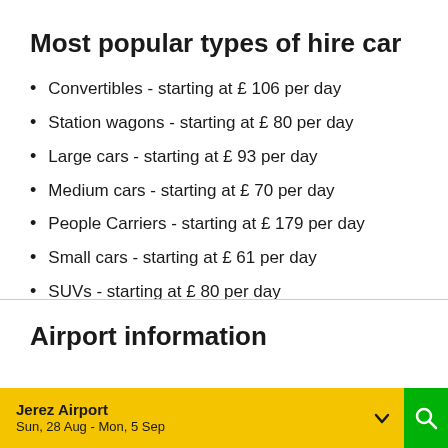Most popular types of hire car
Convertibles - starting at £ 106 per day
Station wagons - starting at £ 80 per day
Large cars - starting at £ 93 per day
Medium cars - starting at £ 70 per day
People Carriers - starting at £ 179 per day
Small cars - starting at £ 61 per day
SUVs - starting at £ 80 per day
Airport information
Jerez Airport Sun, 28 Aug - Mon, 5 Sep